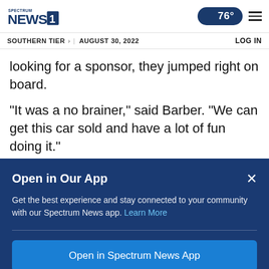Spectrum News 1 | 76° | Menu
SOUTHERN TIER > | AUGUST 30, 2022 | LOG IN
looking for a sponsor, they jumped right on board.
“It was a no brainer,” said Barber. “We can get this car sold and have a lot of fun doing it.”
As part of the Wegman Stock Race, the...
Open in Our App
Get the best experience and stay connected to your community with our Spectrum News app. Learn More
Open in Spectrum News App
Continue in Browser